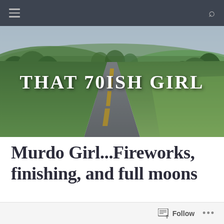Navigation bar with hamburger menu and search icon
[Figure (photo): Scenic rural highway stretching into the distance with green trees and rolling hills on both sides, overlaid with blog title text 'THAT 70ISH GIRL']
Murdo Girl...Fireworks, finishing, and full moons
July 5, 2020  Mary Francis McNinch
Follow  ...